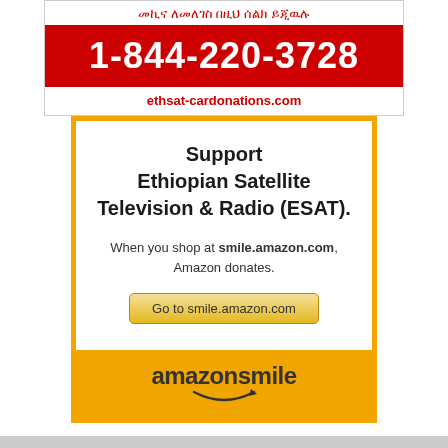መኪና ለመለገስ በዚህ ሰልክ ይጂዉሉ
1-844-220-3728
ethsat-cardonations.com
[Figure (infographic): Amazon Smile donation ad for Ethiopian Satellite Television & Radio (ESAT). White box with orange border containing bold text 'Support Ethiopian Satellite Television & Radio (ESAT).', description 'When you shop at smile.amazon.com, Amazon donates.', a button 'Go to smile.amazon.com', and an orange footer with the Amazon Smile logo.]
Support Ethiopian Satellite Television & Radio (ESAT).
When you shop at smile.amazon.com, Amazon donates.
Go to smile.amazon.com
amazonsmile